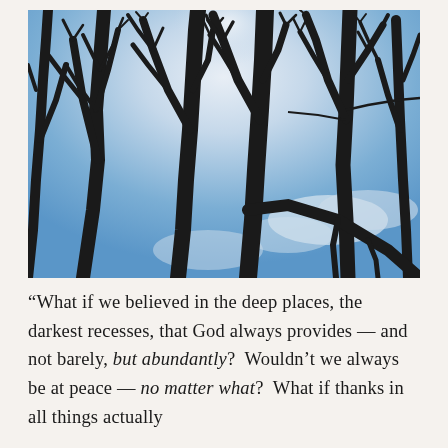[Figure (photo): Photograph taken looking upward through bare winter tree branches silhouetted against a blue and white sky with sunlight filtering through.]
“What if we believed in the deep places, the darkest recesses, that God always provides — and not barely, but abundantly?  Wouldn’t we always be at peace — no matter what?  What if thanks in all things actually